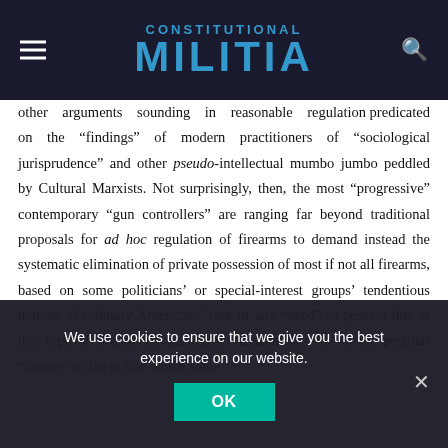CONSTITUTIONAL MILITIA
other arguments sounding in reasonable regulation predicated on the “findings” of modern practitioners of “sociological jurisprudence” and other pseudo-intellectual mumbo jumbo peddled by Cultural Marxists. Not surprisingly, then, the most “progressive” contemporary “gun controllers” are ranging far beyond traditional proposals for ad hoc regulation of firearms to demand instead the systematic elimination of private possession of most if not all firearms, based on some politicians’ or special-interest groups’ tendentious notions of ordinary Americans’ lack of any “need” to possess this or that type of firearm (in particular, “assault rifles”); on the peculiar “danger” to the public which some
We use cookies to ensure that we give you the best experience on our website.